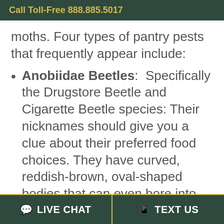Call Toll-Free 888.885.5017
moths. Four types of pantry pests that frequently appear include:
Anobiidae Beetles:  Specifically the Drugstore Beetle and Cigarette Beetle species: Their nicknames should give you a clue about their preferred food choices. They have curved, reddish-brown, oval-shaped bodies that can even bore into wood. Also, they will eat up every dry food in your pantry as well as your pet's food. They will show
LIVE CHAT   TEXT US